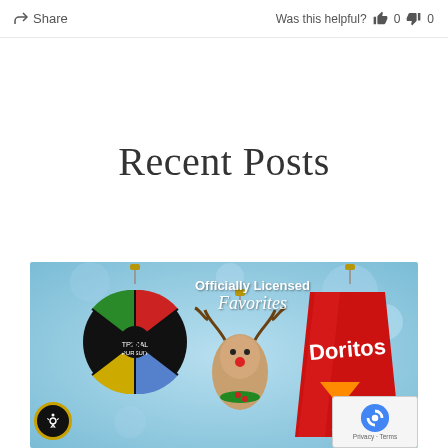Share   Was this helpful? 👍 0 👎 0
Recent Posts
[Figure (photo): Promotional image showing Christmas ornaments of officially licensed brands including a Doritos bag ornament, a Rudolph reindeer ornament, and a Trivial Pursuit board game ornament, on a blue bokeh background with text 'Officially Licensed Favorites']